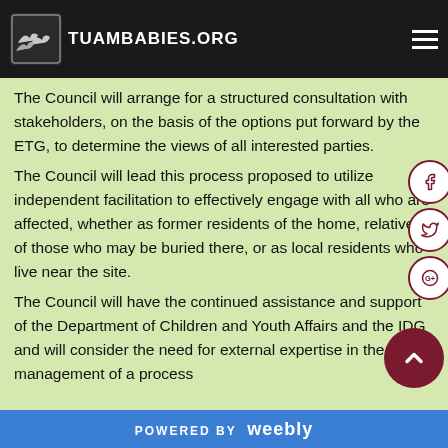TUAMBABIES.ORG — understanding of the ETG that the site is currently in the ownership of Galway County Council
The Council will arrange for a structured consultation with stakeholders, on the basis of the options put forward by the ETG, to determine the views of all interested parties.
The Council will lead this process proposed to utilize independent facilitation to effectively engage with all who are affected, whether as former residents of the home, relatives of those who may be buried there, or as local residents who live near the site.
The Council will have the continued assistance and support of the Department of Children and Youth Affairs and the IDG and will consider the need for external expertise in the management of a process
POWERED BY weebly